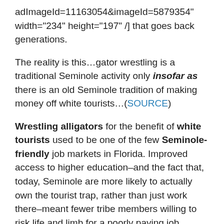adImageId=11163054&imageId=5879354" width="234" height="197" /] that goes back generations.
The reality is this…gator wrestling is a traditional Seminole activity only insofar as there is an old Seminole tradition of making money off white tourists…(SOURCE)
Wrestling alligators for the benefit of white tourists used to be one of the few Seminole-friendly job markets in Florida. Improved access to higher education–and the fact that, today, Seminole are more likely to actually own the tourist trap, rather than just work there–meant fewer tribe members willing to risk life and limb for a poorly paying job.
That probably explains why they want to convince other's to do it as a sport-and possibly get it in to the summer Olympics or something.